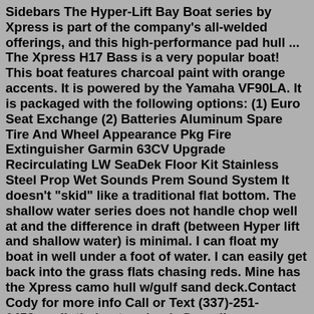Sidebars The Hyper-Lift Bay Boat series by Xpress is part of the company's all-welded offerings, and this high-performance pad hull ... The Xpress H17 Bass is a very popular boat! This boat features charcoal paint with orange accents. It is powered by the Yamaha VF90LA. It is packaged with the following options: (1) Euro Seat Exchange (2) Batteries Aluminum Spare Tire And Wheel Appearance Pkg Fire Extinguisher Garmin 63CV Upgrade Recirculating LW SeaDek Floor Kit Stainless Steel Prop Wet Sounds Prem Sound System It doesn't "skid" like a traditional flat bottom. The shallow water series does not handle chop well at and the difference in draft (between Hyper lift and shallow water) is minimal. I can float my boat in well under a foot of water. I can easily get back into the grass flats chasing reds. Mine has the Xpress camo hull w/gulf sand deck.Contact Cody for more info Call or Text (337)-251-6458email: theboatyardcody@gmail.com ~ Financing Available ~ We Accept Trades ~2022 Xpress Hyperlift Bay 22Powered by Yamaha Sho 175 Four StrokeBoat